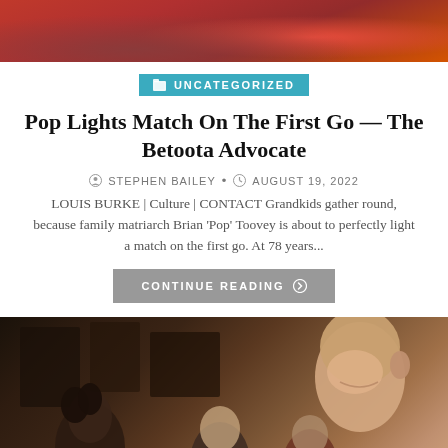[Figure (photo): Close-up photo of red and brown textured surface, partial view at top of page]
UNCATEGORIZED
Pop Lights Match On The First Go — The Betoota Advocate
STEPHEN BAILEY • AUGUST 19, 2022
LOUIS BURKE | Culture | CONTACT Grandkids gather round, because family matriarch Brian 'Pop' Toovey is about to perfectly light a match on the first go. At 78 years...
CONTINUE READING ❯
[Figure (photo): Photo of a bald smiling man in foreground at a social gathering, with other people visible in the background]